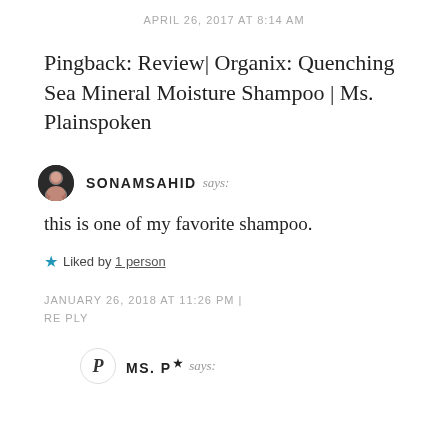APRIL 26, 2017 AT 8:14 AM
Pingback: Review| Organix: Quenching Sea Mineral Moisture Shampoo | Ms. Plainspoken
SONAMSAHID says:
this is one of my favorite shampoo.
Liked by 1 person
JANUARY 26, 2018 AT 11:26 PM | REPLY
MS. P says: